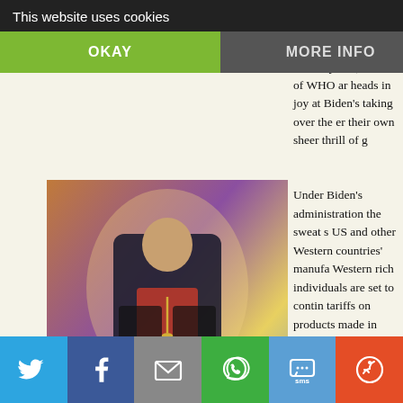socialist democrat António Guterres, wh Adhanom Ghebreyesus, head of WHO are heads in joy at Biden's taking over the W er their own sheer thrill of g
This website uses cookies
OKAY
MORE INFO
[Figure (photo): Book cover: Stepinac His Life and Times by Robin Harris. Shows a portrait of Cardinal Stepinac in religious robes against a colorful background.]
Under Biden's administration the sweat s US and other Western countries' manufa Western rich individuals are set to contin tariffs on products made in China or the b Tok were not popular with China and US everyone who does not want their own c feet and revitalise its lost manufacturing
[Figure (photo): Book cover: Croatia land and people. Shows a collage of Croatian scenes including coastal towns and landscapes with red, blue and green color blocks.]
With Biden's and Obama's stalwarts and c White House in Washington we know tha countries outside the USA will achieve ev ever before. But not to benefit ordinary p countries. They will soon feel the brunt o even bigger slaves and beggars for brea
[Figure (screenshot): Social media sharing bar at bottom with Twitter, Facebook, Email, WhatsApp, SMS, and more options buttons]